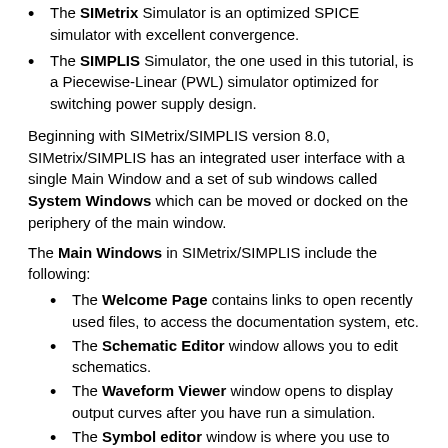The SIMetrix Simulator is an optimized SPICE simulator with excellent convergence.
The SIMPLIS Simulator, the one used in this tutorial, is a Piecewise-Linear (PWL) simulator optimized for switching power supply design.
Beginning with SIMetrix/SIMPLIS version 8.0, SIMetrix/SIMPLIS has an integrated user interface with a single Main Window and a set of sub windows called System Windows which can be moved or docked on the periphery of the main window.
The Main Windows in SIMetrix/SIMPLIS include the following:
The Welcome Page contains links to open recently used files, to access the documentation system, etc.
The Schematic Editor window allows you to edit schematics.
The Waveform Viewer window opens to display output curves after you have run a simulation.
The Symbol editor window is where you use to create or modify symbols.
The System Windows include these:
The Command Shell displays error messages...